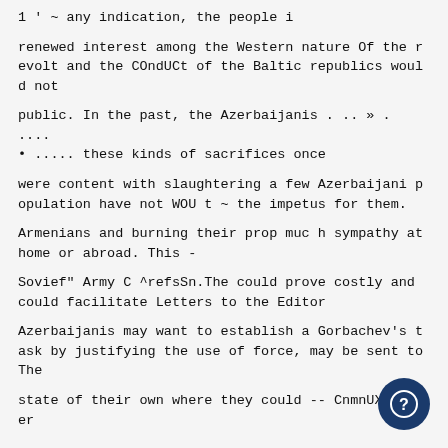1 ' ~ any indication, the people i
renewed interest among the Western nature Of the revolt and the COndUCt of the Baltic republics would not
public. In the past, the Azerbaijanis . .. » . .... • ..... these kinds of sacrifices once
were content with slaughtering a few Azerbaijani population have not WOU t ~ the impetus for them.
Armenians and burning their prop muc h sympathy at home or abroad. This -
Sovief" Army C ^refsSn.The could prove costly and could facilitate Letters to the Editor
Azerbaijanis may want to establish a Gorbachev's task by justifying the use of force, may be sent to The
state of their own where they could -- CnmnUX er